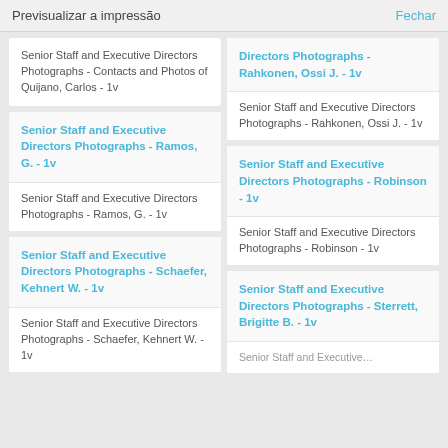Previsualizar a impressão     Fechar
Senior Staff and Executive Directors Photographs - Contacts and Photos of Quijano, Carlos - 1v
Directors Photographs - Rahkonen, Ossi J. - 1v
Senior Staff and Executive Directors Photographs - Rahkonen, Ossi J. - 1v
Senior Staff and Executive Directors Photographs - Ramos, G. - 1v
Senior Staff and Executive Directors Photographs - Ramos, G. - 1v
Senior Staff and Executive Directors Photographs - Robinson - 1v
Senior Staff and Executive Directors Photographs - Robinson - 1v
Senior Staff and Executive Directors Photographs - Schaefer, Kehnert W. - 1v
Senior Staff and Executive Directors Photographs - Schaefer, Kehnert W. - 1v
Senior Staff and Executive Directors Photographs - Sterrett, Brigitte B. - 1v